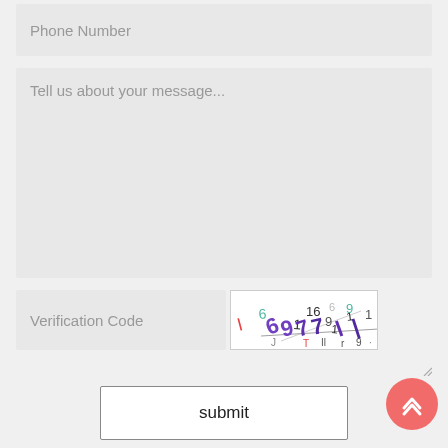Phone Number
Tell us about your message...
Verification Code
[Figure (other): CAPTCHA image with distorted numbers and letters in various colors (purple, teal, red, green) on white background]
submit